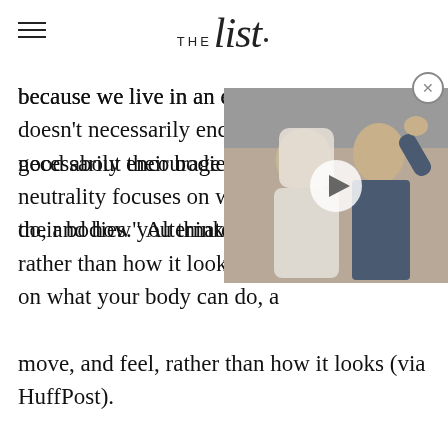THE list
because we live in an environment that doesn't necessarily encourage women to feel good about their bodies." Alternately, body neutrality focuses on what your body can do, and how you think, move, and feel, rather than how it looks (via HuffPost).
[Figure (photo): Video overlay showing a bride and groom (Sarah Ferguson and Prince Andrew) waving on a balcony, with a play button in the center]